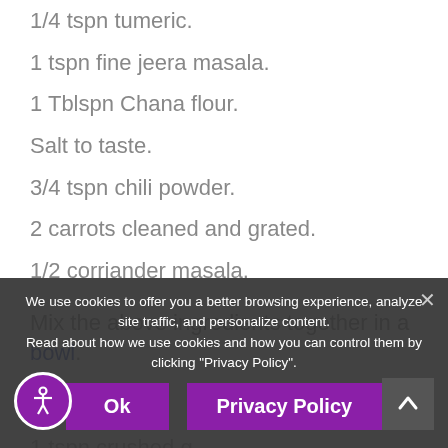1/4 tspn tumeric.
1 tspn fine jeera masala.
1 Tblspn Chana flour.
Salt to taste.
3/4 tspn chili powder.
2 carrots cleaned and grated.
1/2 corriander masala.
Mix the above ingredients together in a bowl.
4 Tblspn oil
1 tspn crushed g...
1/2 tspn...
curry leaves.
We use cookies to offer you a better browsing experience, analyze site traffic, and personalize content. Read about how we use cookies and how you can control them by clicking "Privacy Policy".